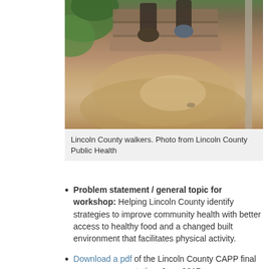[Figure (photo): Two people walking down outdoor stone steps, visible from the knees down, surrounded by dirt and greenery. Photo from Lincoln County Public Health.]
Lincoln County walkers. Photo from Lincoln County Public Health
Problem statement / general topic for workshop: Helping Lincoln County identify strategies to improve community health with better access to healthy food and a changed built environment that facilitates physical activity.
Download a pdf of the Lincoln County CAPP final summary presentation, June 2017.